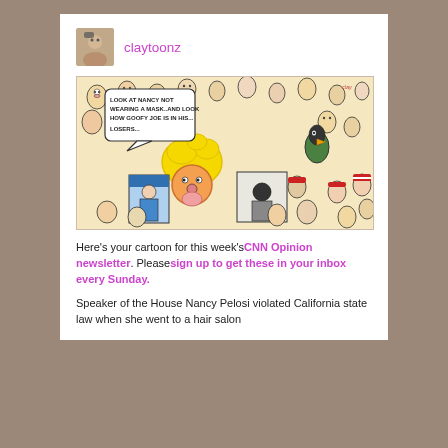claytoonz
[Figure (illustration): Editorial cartoon showing a crowd of cartoon characters with a speech bubble reading 'LOOK AT NANCY NOT WEARING A MASK..AND LOOK HOW GOOFY JOE IS IN HIS... LOSERS...' with caricatures of political figures]
Here’s your cartoon for this week’s CNN Opinion newsletter. Please sign up to get these in your inbox every Sunday.
Speaker of the House Nancy Pelosi violated California state law when she went to a hair salon